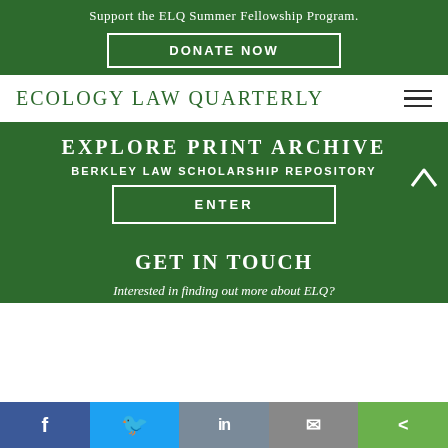Support the ELQ Summer Fellowship Program.
DONATE NOW
[Figure (logo): Ecology Law Quarterly logo with hamburger menu icon]
EXPLORE PRINT ARCHIVE
BERKLEY LAW SCHOLARSHIP REPOSITORY
ENTER
GET IN TOUCH
Interested in finding out more about ELQ?
[Figure (infographic): Social share bar with Facebook, Twitter, LinkedIn, Email, and Share buttons]